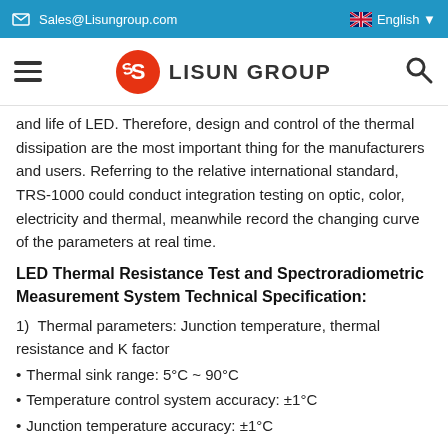✉ Sales@Lisungroup.com    🇬🇧 English ▼
[Figure (logo): Lisun Group logo with hamburger menu and search icon navigation bar]
and life of LED. Therefore, design and control of the thermal dissipation are the most important thing for the manufacturers and users. Referring to the relative international standard, TRS-1000 could conduct integration testing on optic, color, electricity and thermal, meanwhile record the changing curve of the parameters at real time.
LED Thermal Resistance Test and Spectroradiometric Measurement System Technical Specification:
1)  Thermal parameters: Junction temperature, thermal resistance and K factor
• Thermal sink range: 5°C  ~  90°C
• Temperature control system accuracy: ±1°C
• Junction temperature accuracy: ±1°C